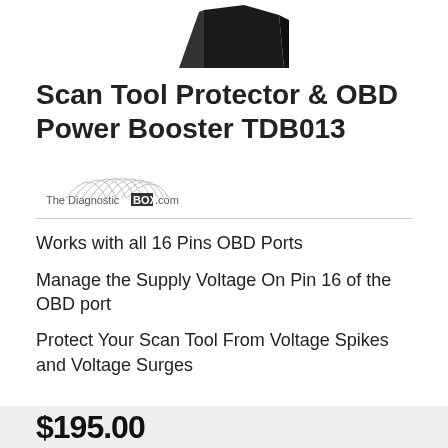[Figure (photo): Partial top view of a scan tool protector device (black hardware component), cropped at top of page]
Scan Tool Protector & OBD Power Booster TDB013
[Figure (logo): The Diagnostic BOX .com logo with stylized waveform/sweep graphic]
Works with all 16 Pins OBD Ports
Manage the Supply Voltage On Pin 16 of the OBD port
Protect Your Scan Tool From Voltage Spikes and Voltage Surges
$195.00